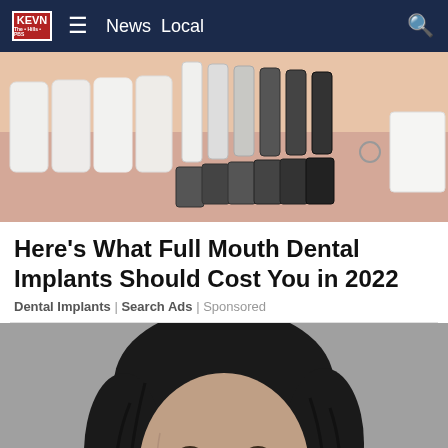KEVN ≡ News Local 🔍
[Figure (photo): Dental implant color shade samples fanned out — white and dark shade tabs against a light background]
Here's What Full Mouth Dental Implants Should Cost You in 2022
Dental Implants | Search Ads | Sponsored
[Figure (photo): Mugshot-style close-up photo of a man with dark medium-length hair against a gray background]